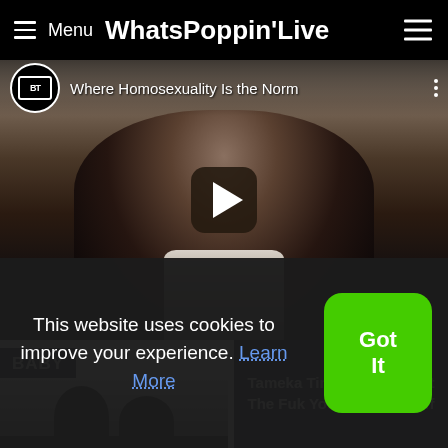≡ Menu WhatsPoppinʼLive
[Figure (screenshot): YouTube-style video thumbnail showing a person in dark clothing with a striped tie. Video title reads 'Where Homosexuality Is the Norm' with a BT channel logo and play button.]
BABY
Tameka Tiny Harris - What The Fuk You Gon Do? (Off
This website uses cookies to improve your experience. Learn More
Got It